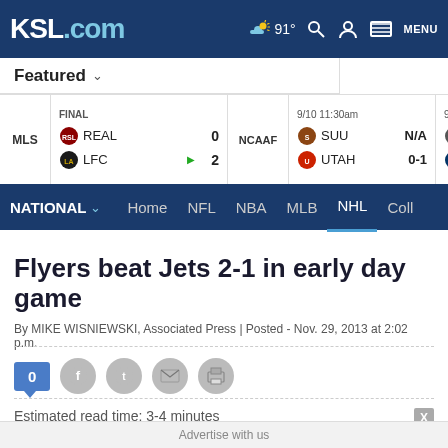KSL.com — 91° NATIONAL Home NFL NBA MLB NHL Coll
Featured
| League | Status | Team | Score |
| --- | --- | --- | --- |
| MLS | FINAL | REAL | 0 |
| MLS | FINAL | LFC | 2 |
| NCAAF | 9/10 11:30am | SUU | N/A |
| NCAAF | 9/10 11:30am | UTAH | 0-1 |
|  | 9/10 5:00pm | WEB |  |
|  | 9/10 5:00pm | USU |  |
Flyers beat Jets 2-1 in early day game
By MIKE WISNIEWSKI, Associated Press | Posted - Nov. 29, 2013 at 2:02 p.m.
0
Estimated read time: 3-4 minutes
Advertise with us